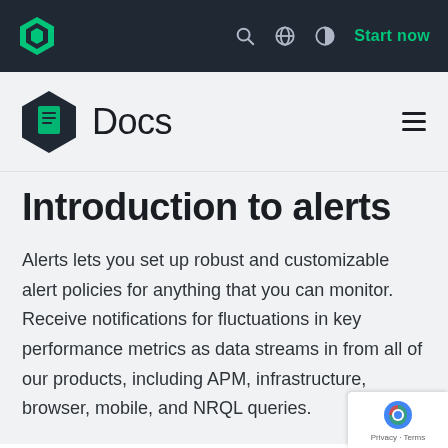Start now
Docs
Introduction to alerts
Alerts lets you set up robust and customizable alert policies for anything that you can monitor. Receive notifications for fluctuations in key performance metrics as data streams in from all of our products, including APM, infrastructure, browser, mobile, and NRQL queries.